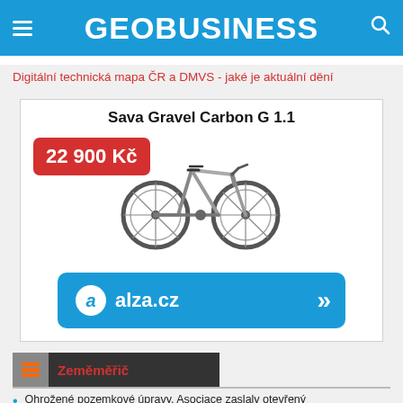GEOBUSINESS
Digitální technická mapa ČR a DMVS - jaké je aktuální dění
[Figure (other): Advertisement banner for 'Sava Gravel Carbon G 1.1' bicycle priced at 22 900 Kč, showing a grey gravel bike, with an alza.cz purchase button.]
Zeměměřič
Ohrožené pozemkové úpravy. Asociace zaslaly otevřený dopis řediteli SPÚ